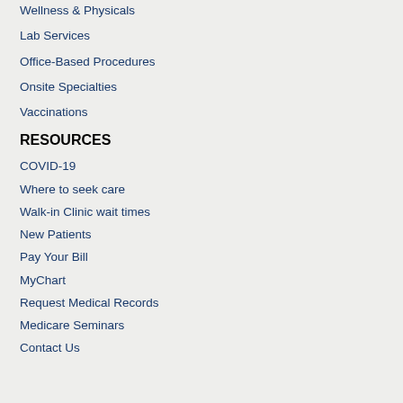Wellness & Physicals
Lab Services
Office-Based Procedures
Onsite Specialties
Vaccinations
RESOURCES
COVID-19
Where to seek care
Walk-in Clinic wait times
New Patients
Pay Your Bill
MyChart
Request Medical Records
Medicare Seminars
Contact Us